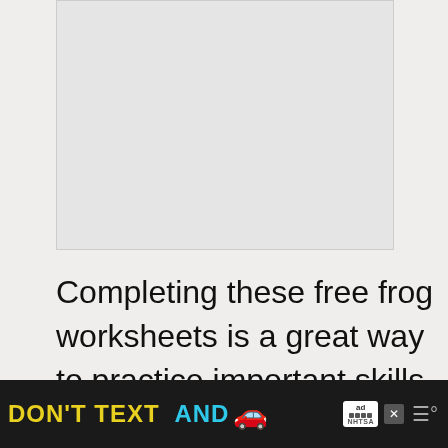[Figure (photo): Top advertisement placeholder box with light gray background]
Completing these free frog worksheets is a great way to practice important skills with your preschoolers.
[Figure (other): Heart/like button (red circle with heart icon) with count 22 and share button below]
[Figure (photo): Photo of wooden table surface with a green crayon, partially visible. Overlay card: WHAT'S NEXT → Frog Life Cycle...]
[Figure (other): Bottom advertisement banner: dark background with DON'T TEXT AND [car emoji] ad text in yellow and cyan, NHTSA branding, close X button, ad badge, weather app icon]